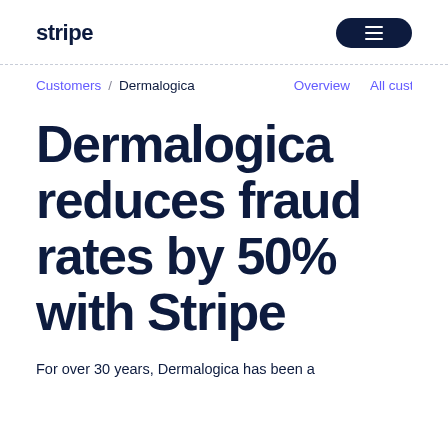stripe
Customers / Dermalogica  Overview  All cust
Dermalogica reduces fraud rates by 50% with Stripe
For over 30 years, Dermalogica has been a